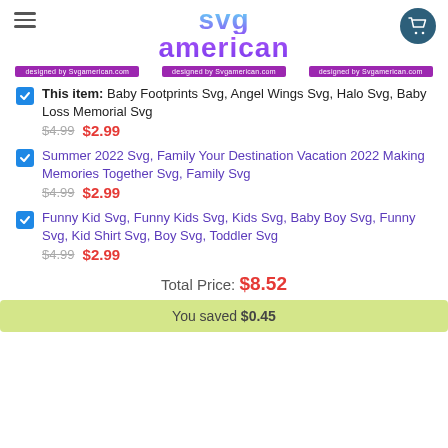SVG American
[Figure (screenshot): Three purple banner pills reading 'designed by Svgamerican.com']
This item: Baby Footprints Svg, Angel Wings Svg, Halo Svg, Baby Loss Memorial Svg — $4.99 $2.99
Summer 2022 Svg, Family Your Destination Vacation 2022 Making Memories Together Svg, Family Svg — $4.99 $2.99
Funny Kid Svg, Funny Kids Svg, Kids Svg, Baby Boy Svg, Funny Svg, Kid Shirt Svg, Boy Svg, Toddler Svg — $4.99 $2.99
Total Price: $8.52
You saved $0.45